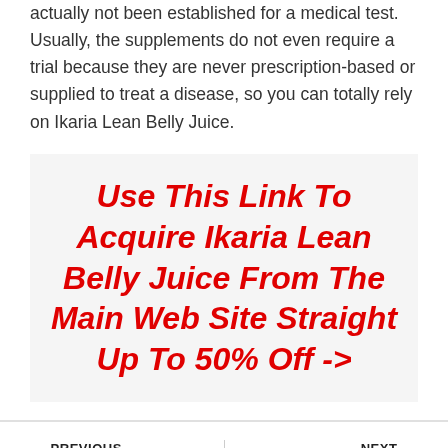actually not been established for a medical test. Usually, the supplements do not even require a trial because they are never prescription-based or supplied to treat a disease, so you can totally rely on Ikaria Lean Belly Juice.
Use This Link To Acquire Ikaria Lean Belly Juice From The Main Web Site Straight Up To 50% Off ->
← PREVIOUS
Yogo Burn Total Body...
NEXT →
Exipure Rochester New...